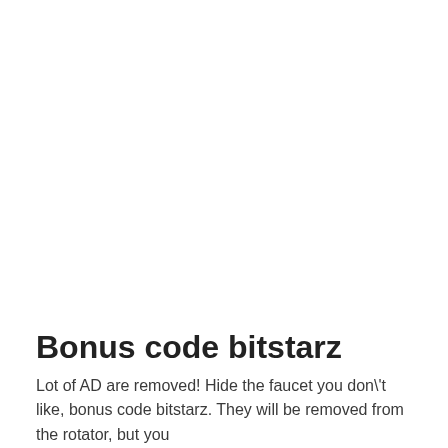Bonus code bitstarz
Lot of AD are removed! Hide the faucet you don\'t like, bonus code bitstarz. They will be removed from the rotator, but you